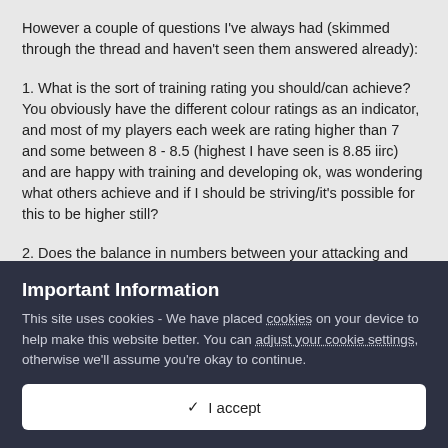However a couple of questions I've always had (skimmed through the thread and haven't seen them answered already):
1. What is the sort of training rating you should/can achieve? You obviously have the different colour ratings as an indicator, and most of my players each week are rating higher than 7 and some between 8 - 8.5 (highest I have seen is 8.85 iirc) and are happy with training and developing ok, was wondering what others achieve and if I should be striving/it's possible for this to be higher still?
2. Does the balance in numbers between your attacking and
Important Information
This site uses cookies - We have placed cookies on your device to help make this website better. You can adjust your cookie settings, otherwise we'll assume you're okay to continue.
✓  I accept